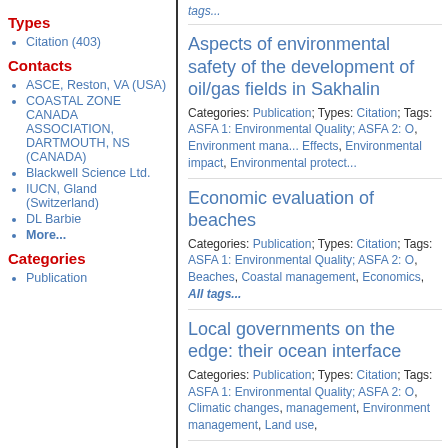Types
Citation (403)
Contacts
ASCE, Reston, VA (USA)
COASTAL ZONE CANADA ASSOCIATION, DARTMOUTH, NS (CANADA)
Blackwell Science Ltd.
IUCN, Gland (Switzerland)
DL Barbie
More...
Categories
Publication
tags...
Aspects of environmental safety of the development of oil/gas fields in Sakhalin
Categories: Publication; Types: Citation; Tags: ASFA 1: Environmental Quality; ASFA 2: O, Environment management, Effects, Environmental impact, Environmental protect...
Economic evaluation of beaches
Categories: Publication; Types: Citation; Tags: ASFA 1: Environmental Quality; ASFA 2: O, Beaches, Coastal management, Economics, All tags...
Local governments on the edge: their ocean interface
Categories: Publication; Types: Citation; Tags: ASFA 1: Environmental Quality; ASFA 2: O, Climatic changes, management, Environment management, Land use,...
Coastal watershed policy and ma...